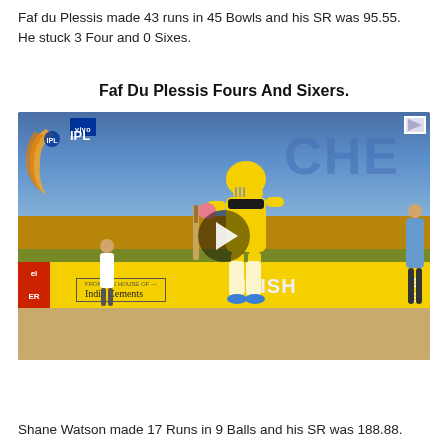Faf du Plessis made 43 runs in 45 Bowls and his SR was 95.55. He stuck 3 Four and 0 Sixes.
Faf Du Plessis Fours And Sixers.
[Figure (screenshot): Video screenshot of IPL cricket match showing Faf du Plessis batting in CSK yellow jersey, with VIVO IPL branding, India Cements advertising board, and a play button overlay in the center.]
Shane Watson made 17 Runs in 9 Balls and his SR was 188.88.